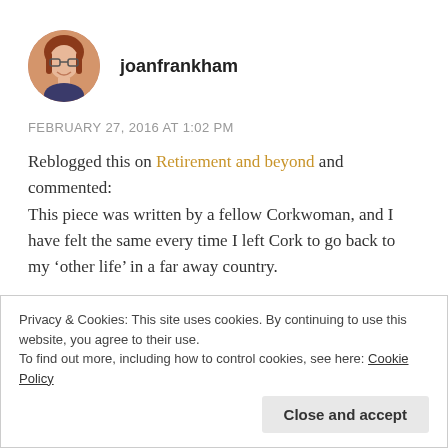[Figure (photo): Circular avatar photo of a woman with red/auburn hair and glasses, wearing a dark top, smiling.]
joanfrankham
FEBRUARY 27, 2016 AT 1:02 PM
Reblogged this on Retirement and beyond and commented:
This piece was written by a fellow Corkwoman, and I have felt the same every time I left Cork to go back to my ‘other life’ in a far away country.
Privacy & Cookies: This site uses cookies. By continuing to use this website, you agree to their use.
To find out more, including how to control cookies, see here: Cookie Policy
Close and accept